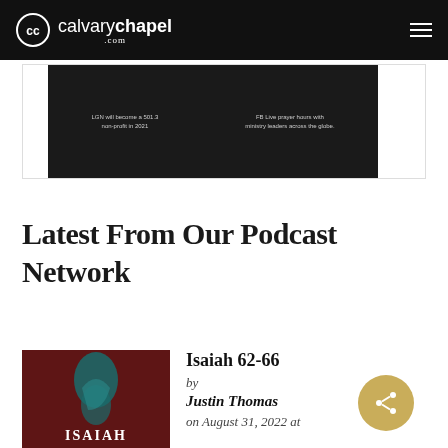calvarychapel.com
[Figure (screenshot): Dark banner image with two text columns on calvarychapel.com website]
Latest From Our Podcast Network
[Figure (photo): Isaiah podcast album cover with dark red background and teal figure illustration, text reads ISAIAH]
Isaiah 62-66
by
Justin Thomas
on August 31, 2022 at